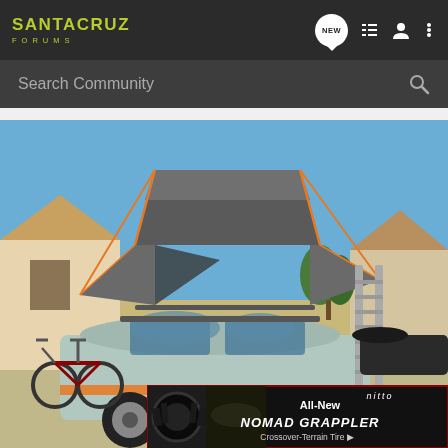SANTA CRUZ FORUMS
Search Community
[Figure (photo): A Mini Cooper with a rooftop tent (grey with orange trim) deployed on roof racks, a bicycle mounted on the rear hitch, and an extending ladder against the car, parked on a residential driveway with a light blue sky background]
[Figure (infographic): Nitto tires advertisement banner: All-New NOMAD GRAPPLER Crossover-Terrain Tire, showing a tire and off-road vehicle on dark background with red border]